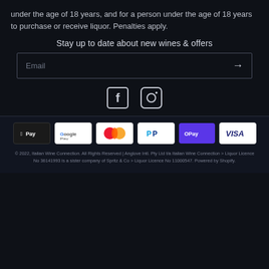under the age of 18 years, and for a person under the age of 18 years to purchase or receive liquor. Penalties apply.
Stay up to date about new wines & offers
Email
[Figure (logo): Facebook and Instagram social media icons]
[Figure (infographic): Payment method badges: Apple Pay, Google Pay, Mastercard, PayPal, OPay, Visa]
© 2022, Italian Wine Connection. All Rights Reserved | Anglove Intl. Pty Ltd t/a Italian Wine Connection > Liquor Licence No 36141993 is a sister company of Spritz & Co > Liquor Licence No 11000547. Powered by Shopify.